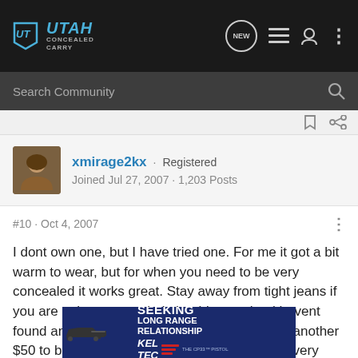Utah Concealed Carry
Search Community
xmirage2kx · Registered
Joined Jul 27, 2007 · 1,203 Posts
#10 · Oct 4, 2007
I dont own one, but I have tried one. For me it got a bit warm to wear, but for when you need to be very concealed it works great. Stay away from tight jeans if you are going to wear it. I should state that i havent found an IWB holster I liked either. When I get another $50 to blow I will get a smart carry as they are very useful, but i wouldnt wear it daily.
[Figure (screenshot): Advertisement banner for Kel-Tec CP33 pistol: 'Seeking Long Range Relationship' with image of a handgun]